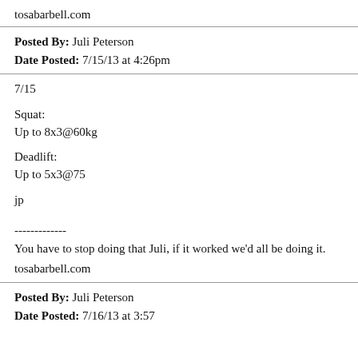tosabarbell.com
Posted By: Juli Peterson
Date Posted: 7/15/13 at 4:26pm
7/15

Squat:
Up to 8x3@60kg

Deadlift:
Up to 5x3@75

jp
-------------
You have to stop doing that Juli, if it worked we'd all be doing it.
tosabarbell.com
Posted By: Juli Peterson
Date Posted: 7/16/13 at 3:57